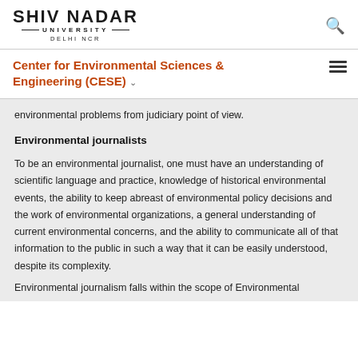SHIV NADAR UNIVERSITY DELHI NCR
Center for Environmental Sciences & Engineering (CESE)
environmental problems from judiciary point of view.
Environmental journalists
To be an environmental journalist, one must have an understanding of scientific language and practice, knowledge of historical environmental events, the ability to keep abreast of environmental policy decisions and the work of environmental organizations, a general understanding of current environmental concerns, and the ability to communicate all of that information to the public in such a way that it can be easily understood, despite its complexity.
Environmental journalism falls within the scope of Environmental